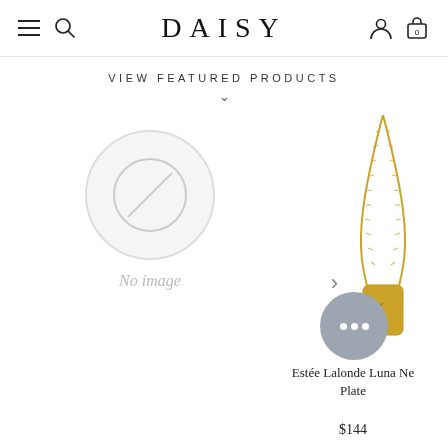DAISY
VIEW FEATURED PRODUCTS
[Figure (photo): No image placeholder with circle and diagonal ban symbol]
[Figure (photo): Gold necklace with moon pendant (Estée Lalonde Luna Necklace, Gold Plate)]
Estée Lalonde Luna Ne... Plate...
$144